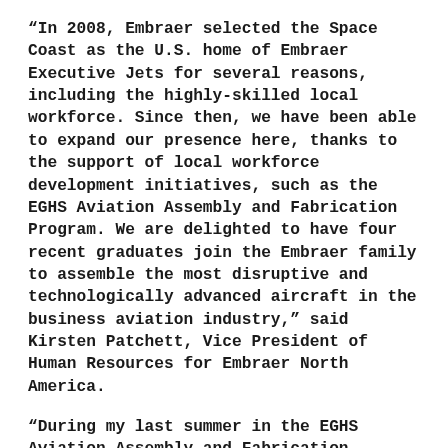“In 2008, Embraer selected the Space Coast as the U.S. home of Embraer Executive Jets for several reasons, including the highly-skilled local workforce. Since then, we have been able to expand our presence here, thanks to the support of local workforce development initiatives, such as the EGHS Aviation Assembly and Fabrication Program. We are delighted to have four recent graduates join the Embraer family to assemble the most disruptive and technologically advanced aircraft in the business aviation industry,” said Kirsten Patchett, Vice President of Human Resources for Embraer North America.
“During my last summer in the EGHS Aviation Assembly and Fabrication Program, I completed an internship at Embraer, where I was excited to apply, first-hand, what I was learning in school,” said Kiaralys Alva, Interiors Technician at Embraer. “Upon graduation, thanks to the program, I already had a full-time position lined up at Embraer. I now get to do what I love, with the confidence that…